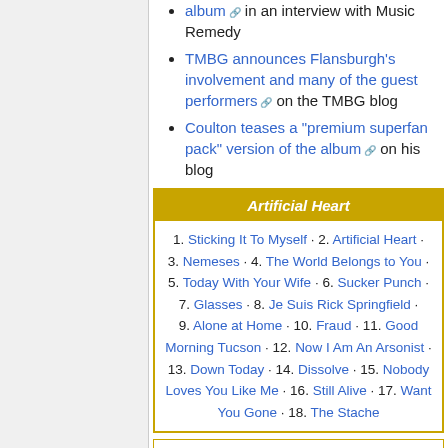album in an interview with Music Remedy
TMBG announces Flansburgh's involvement and many of the guest performers on the TMBG blog
Coulton teases a "premium superfan pack" version of the album on his blog
| Artificial Heart |
| --- |
| 1. Sticking It To Myself · 2. Artificial Heart · 3. Nemeses · 4. The World Belongs to You · 5. Today With Your Wife · 6. Sucker Punch · 7. Glasses · 8. Je Suis Rick Springfield · 9. Alone at Home · 10. Fraud · 11. Good Morning Tucson · 12. Now I Am An Arsonist · 13. Down Today · 14. Dissolve · 15. Nobody Loves You Like Me · 16. Still Alive · 17. Want You Gone · 18. The Stache |
Category: Albums